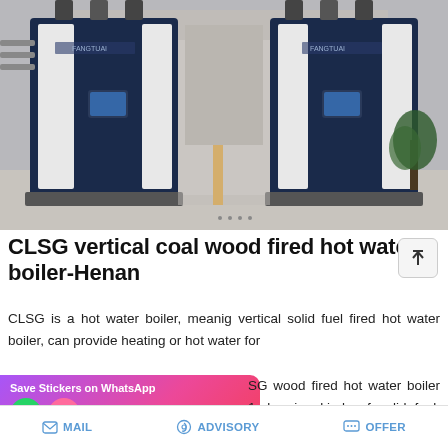[Figure (photo): Two large dark navy blue and white CLSG vertical boiler units installed in an industrial facility. The boilers are tall rectangular units with yellow piping visible between them in the background. A plant is visible to the right. The floor is concrete.]
CLSG vertical coal wood fired hot water boiler-Henan
CLSG is a hot water boiler, meanig vertical solid fuel fired hot water boiler, can provide heating or hot water for ... SG wood fired hot water boiler 1. burning kinds of solid fuel, suc...